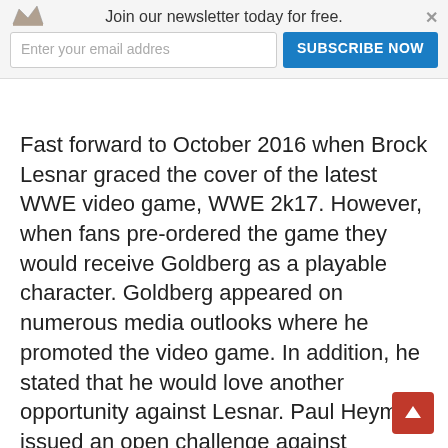Join our newsletter today for free.
Fast forward to October 2016 when Brock Lesnar graced the cover of the latest WWE video game, WWE 2k17. However, when fans pre-ordered the game they would receive Goldberg as a playable character. Goldberg appeared on numerous media outlooks where he promoted the video game. In addition, he stated that he would love another opportunity against Lesnar. Paul Heyman issued an open challenge against Goldberg to give Lesnar the opportunity to even up the series at 1-1.